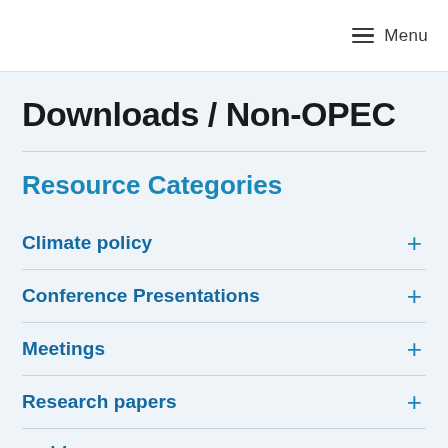Menu
Downloads / Non-OPEC
Resource Categories
Climate policy +
Conference Presentations +
Meetings +
Research papers +
Webinars +